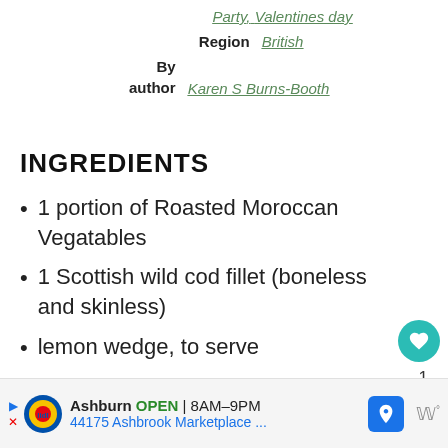Party, Valentines day
Region   British
By author   Karen S Burns-Booth
INGREDIENTS
1 portion of Roasted Moroccan Vegatables
1 Scottish wild cod fillet (boneless and skinless)
lemon wedge, to serve
fresh parsley, to garnish
salt and pepper
Ashburn OPEN 8AM–9PM  44175 Ashbrook Marketplace ...